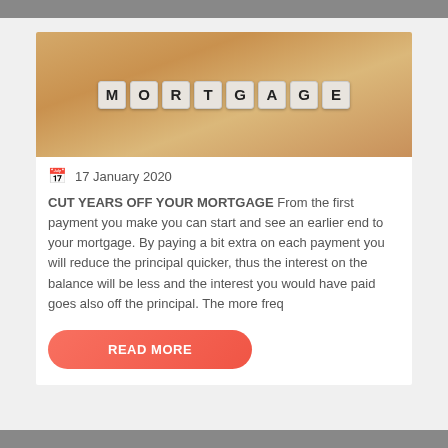[Figure (photo): Scrabble-style letter tiles spelling MORTGAGE on a wooden surface background]
17 January 2020
CUT YEARS OFF YOUR MORTGAGE  From the first payment you make you can start and see an earlier end to your mortgage. By paying a bit extra on each payment you will reduce the principal quicker, thus the interest on the balance will be less and the interest you would have paid goes also off the principal.  The more freq
READ MORE